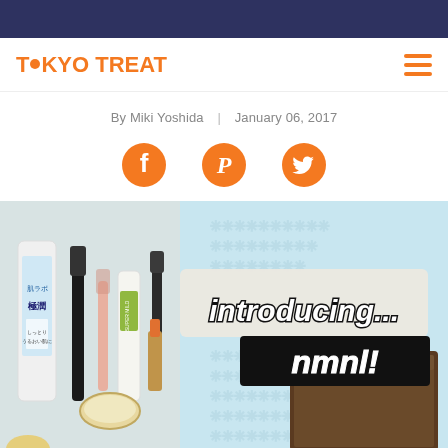[Figure (logo): TokyoTreat logo in orange with hamburger menu icon]
By Miki Yoshida | January 06, 2017
[Figure (infographic): Social share icons: Facebook, Pinterest, Twitter in orange]
[Figure (photo): Japanese beauty products (skincare and makeup) arranged on a surface, with text overlay reading 'introducing... nmnl!' on a light blue patterned background with a brown box]